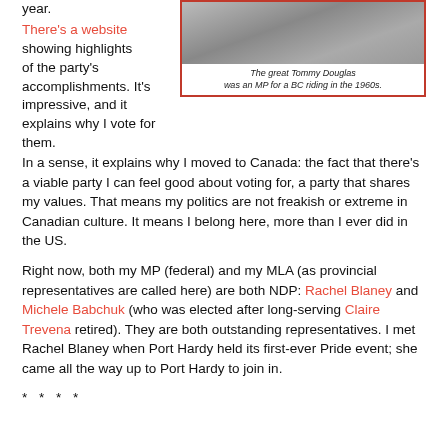year.
[Figure (photo): Black and white photograph of Tommy Douglas. Caption reads: The great Tommy Douglas was an MP for a BC riding in the 1960s.]
The great Tommy Douglas was an MP for a BC riding in the 1960s.
There's a website showing highlights of the party's accomplishments. It's impressive, and it explains why I vote for them.
In a sense, it explains why I moved to Canada: the fact that there's a viable party I can feel good about voting for, a party that shares my values. That means my politics are not freakish or extreme in Canadian culture. It means I belong here, more than I ever did in the US.
Right now, both my MP (federal) and my MLA (as provincial representatives are called here) are both NDP: Rachel Blaney and Michele Babchuk (who was elected after long-serving Claire Trevena retired). They are both outstanding representatives. I met Rachel Blaney when Port Hardy held its first-ever Pride event; she came all the way up to Port Hardy to join in.
* * * *